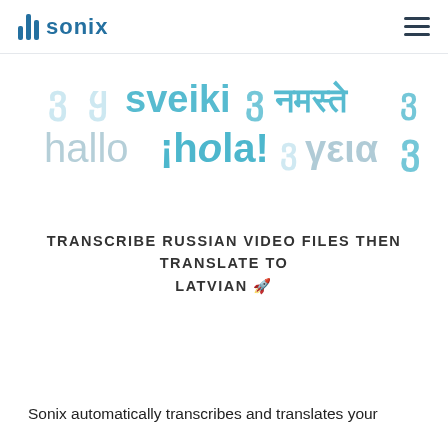sonix
[Figure (illustration): Decorative background showing multilingual greeting words in various scripts and colors (teal, light gray): 'sveiki', 'namaste' (Devanagari), 'hallo', '¡hola!', 'γεια' and other scripts]
TRANSCRIBE RUSSIAN VIDEO FILES THEN TRANSLATE TO LATVIAN 🚀
Sonix automatically transcribes and translates your